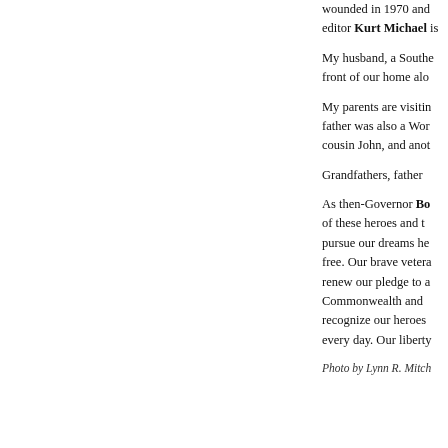wounded in 1970 and editor Kurt Michael is
My husband, a Southe front of our home alo
My parents are visitin father was also a Wor cousin John, and anot
Grandfathers, father
As then-Governor Bo of these heroes and t pursue our dreams he free. Our brave vetera renew our pledge to a Commonwealth and recognize our heroes every day. Our liberty
Photo by Lynn R. Mitch